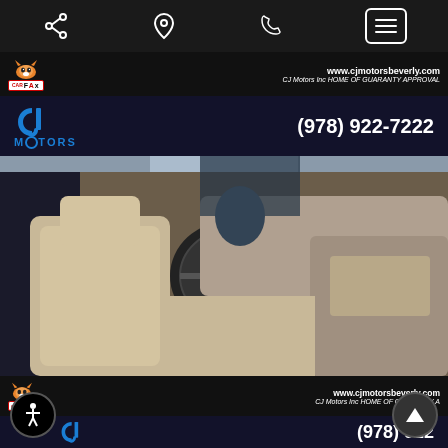[Figure (screenshot): Mobile app top navigation bar with share, location, phone, and menu icons on dark background]
[Figure (screenshot): Dealer banner showing CARFAX logo with fox mascot, website www.cjmotorsbeverly.com and tagline CJ Motors Inc HOME OF GUARANTY APPROVAL]
[Figure (screenshot): CJ Motors logo with blue letters and phone number (978) 922-7222 on dark navy background]
[Figure (photo): Car interior photo showing beige/tan seats, steering wheel, center console, dashboard from passenger side view]
[Figure (screenshot): Bottom dealer banner with CARFAX logo, www.cjmotorsbeverly.com and partial CJ Motors Inc HOME OF GUARANTY A text]
[Figure (screenshot): Bottom logo bar with CJ Motors logo and partial phone number (978) 922, accessibility button and scroll-up button]